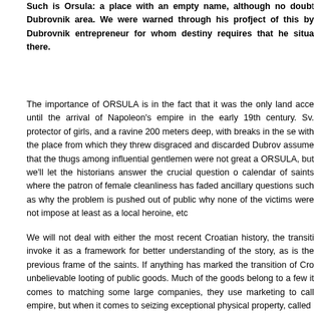Such is Orsula: a place with an empty name, although no doubt the Dubrovnik area. We were warned through his profject of this by Dubrovnik entrepreneur for whom destiny requires that he situates there.
The importance of ORSULA is in the fact that it was the only land access until the arrival of Napoleon's empire in the early 19th century. Sv. protector of girls, and a ravine 200 meters deep, with breaks in the se with the place from which they threw disgraced and discarded Dubrovnik assume that the thugs among influential gentlemen were not great and ORSULA, but we'll let the historians answer the crucial question of calendar of saints where the patron of female cleanliness has faded ancillary questions such as why the problem is pushed out of public why none of the victims were not impose at least as a local heroine, etc
We will not deal with either the most recent Croatian history, the transition invoke it as a framework for better understanding of the story, as is the previous frame of the saints. If anything has marked the transition of Croatia unbelievable looting of public goods. Much of the goods belong to a few it comes to matching some large companies, they use marketing to call empire, but when it comes to seizing exceptional physical property, called